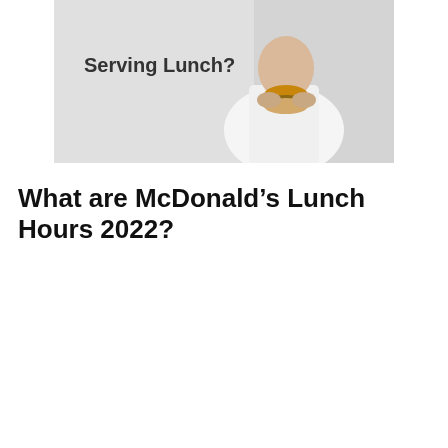[Figure (photo): A person in a white shirt holding a burger/sandwich against a light grey background, with the text 'Serving Lunch?' displayed on the left side of the image.]
What are McDonald's Lunch Hours 2022?